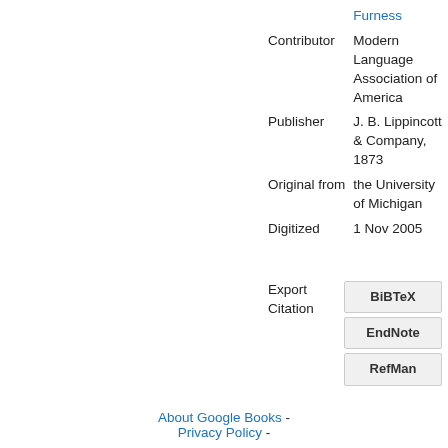|  | Furness |
| Contributor | Modern Language Association of America |
| Publisher | J. B. Lippincott & Company, 1873 |
| Original from | the University of Michigan |
| Digitized | 1 Nov 2005 |
| Export Citation | BiBTeX | EndNote | RefMan |
About Google Books - Privacy Policy -